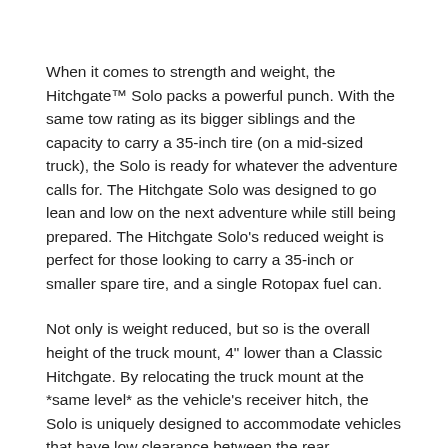When it comes to strength and weight, the Hitchgate™ Solo packs a powerful punch. With the same tow rating as its bigger siblings and the capacity to carry a 35-inch tire (on a mid-sized truck), the Solo is ready for whatever the adventure calls for. The Hitchgate Solo was designed to go lean and low on the next adventure while still being prepared. The Hitchgate Solo's reduced weight is perfect for those looking to carry a 35-inch or smaller spare tire, and a single Rotopax fuel can.
Not only is weight reduced, but so is the overall height of the truck mount, 4" lower than a Classic Hitchgate. By relocating the truck mount at the *same level* as the vehicle's receiver hitch, the Solo is uniquely designed to accommodate vehicles that have low clearance between the rear hatch/door and the receiver (Ex: Sprinter, Renegade, Tahoe). The Hitchgate Solo is also a phenomenal candidate for Subarus and any vehicle where every pound counts.
The Hitchgate Solo spare tire carrier universally fits on all vehicles with a Class III/2" hitch receiver. This swing-away, spare tire